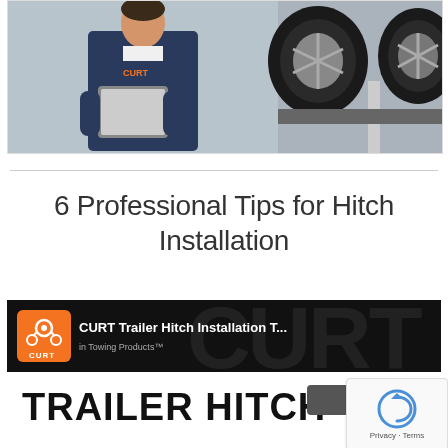[Figure (photo): A mechanic in a dark navy CURT-branded uniform holding a tablet/iPad, standing in front of lifted vehicles showing tires and wheels in a garage/shop setting.]
6 Professional Tips for Hitch Installation
[Figure (screenshot): Screenshot of a CURT Trailer Hitch Installation Tutorial video thumbnail on YouTube. The top bar shows dark background with CURT orange logo, video title 'CURT Trailer Hitch Installation T...' and 'in Towing Products'. The bottom portion shows 'TRAILER HITCH' text in large bold black letters on white background.]
[Figure (logo): Google reCAPTCHA widget showing blue circular arrow icon with 'Privacy - Terms' text below.]